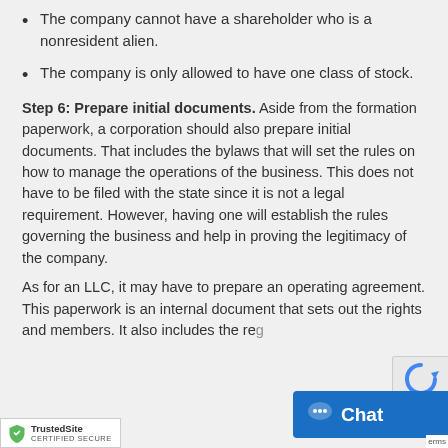The company cannot have a shareholder who is a nonresident alien.
The company is only allowed to have one class of stock.
Step 6: Prepare initial documents. Aside from the formation paperwork, a corporation should also prepare initial documents. That includes the bylaws that will set the rules on how to manage the operations of the business. This does not have to be filed with the state since it is not a legal requirement. However, having one will establish the rules governing the business and help in proving the legitimacy of the company.
As for an LLC, it may have to prepare an operating agreement. This paperwork is an internal document that sets out the rights and members. It also includes the reasses for the management of the